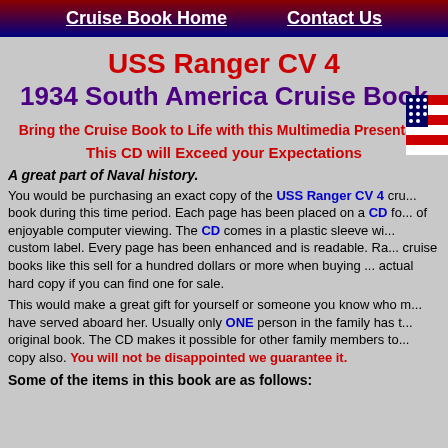Cruise Book Home   Contact Us
USS Ranger CV 4
1934 South America Cruise Book
Bring the Cruise Book to Life with this Multimedia Presentation
This CD will Exceed your Expectations
A great part of Naval history.
You would be purchasing an exact copy of the USS Ranger CV 4 cruise book during this time period. Each page has been placed on a CD for of enjoyable computer viewing. The CD comes in a plastic sleeve with a custom label. Every page has been enhanced and is readable. Rare cruise books like this sell for a hundred dollars or more when buying the actual hard copy if you can find one for sale.
This would make a great gift for yourself or someone you know who may have served aboard her. Usually only ONE person in the family has the original book. The CD makes it possible for other family members to have a copy also. You will not be disappointed we guarantee it.
Some of the items in this book are as follows: